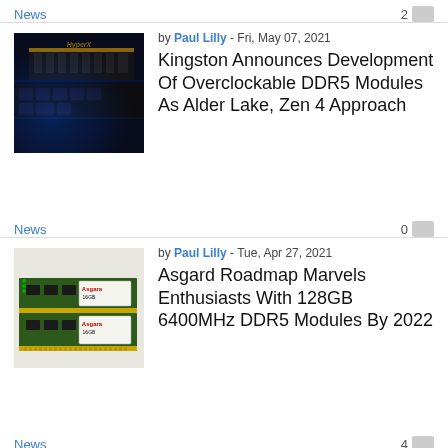News   2
[Figure (photo): HyperX DDR5 RAM module on a blue-lit keyboard background]
by Paul Lilly - Fri, May 07, 2021
Kingston Announces Development Of Overclockable DDR5 Modules As Alder Lake, Zen 4 Approach
News   0
[Figure (photo): Asgard 16GB DDR5 RAM sticks stacked]
by Paul Lilly - Tue, Apr 27, 2021
Asgard Roadmap Marvels Enthusiasts With 128GB 6400MHz DDR5 Modules By 2022
News   4